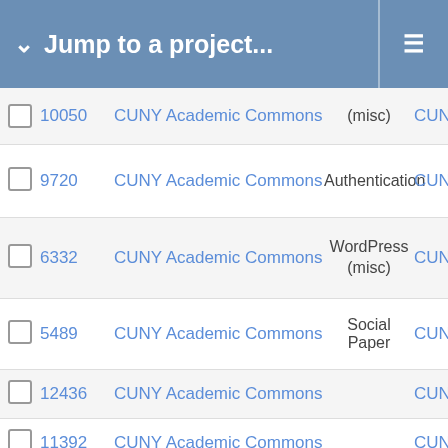Jump to a project...
|  | ID | Project | Category | Extra |
| --- | --- | --- | --- | --- |
|  | 10??0 | CUNY Academic Commons | (misc) | CUN? |
|  | 9720 | CUNY Academic Commons | Authentication | CUNY |
|  | 6332 | CUNY Academic Commons | WordPress (misc) | CUNY |
|  | 5489 | CUNY Academic Commons | Social Paper | CUNY |
|  | 12436 | CUNY Academic Commons |  | CUN |
|  | 11392 | CUNY Academic Commons |  | CUNY |
|  | 11024 | CUNY Academic Commons | WordPress (misc) | CUNY |